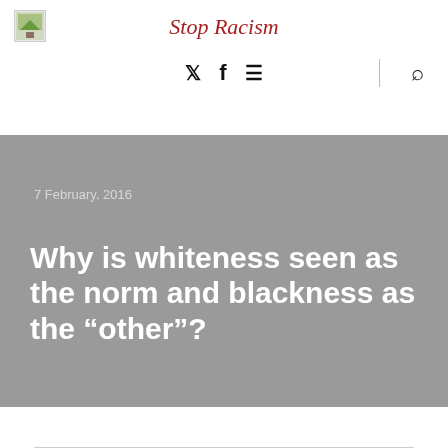Stop Racism
[Figure (logo): Small image placeholder icon in top-left corner]
7 February, 2016
Why is whiteness seen as the norm and blackness as the “other”?
By The Conversation in education, featured, history,